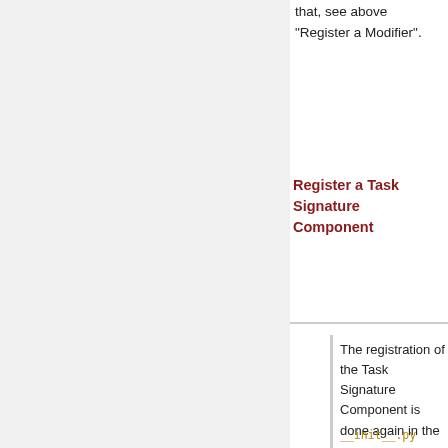that, see above "Register a Modifier".
Register a Task Signature Component
The registration of the Task Signature Component is done again in the
init__.py